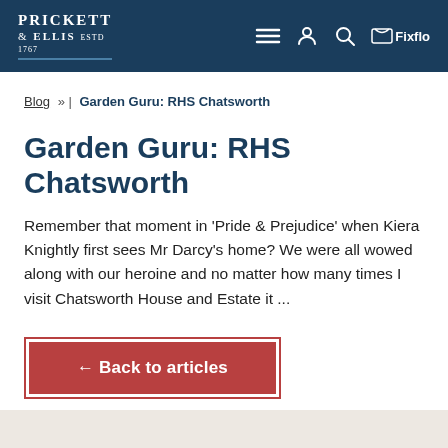Prickett & Ellis — navigation header with logo and icons
Blog » | Garden Guru: RHS Chatsworth
Garden Guru: RHS Chatsworth
Remember that moment in 'Pride & Prejudice' when Kiera Knightly first sees Mr Darcy's home? We were all wowed along with our heroine and no matter how many times I visit Chatsworth House and Estate it ...
← Back to articles